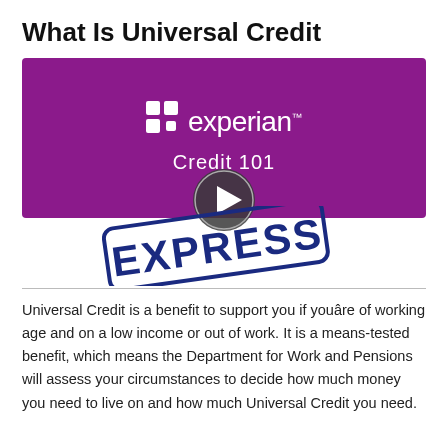What Is Universal Credit
[Figure (screenshot): Experian Credit 101 video thumbnail with play button overlay and EXPRESS stamp. Purple banner with Experian logo and 'Credit 101' text, circular play button in center, and a blue EXPRESS stamp in lower portion.]
Universal Credit is a benefit to support you if youâre of working age and on a low income or out of work. It is a means-tested benefit, which means the Department for Work and Pensions will assess your circumstances to decide how much money you need to live on and how much Universal Credit you need.